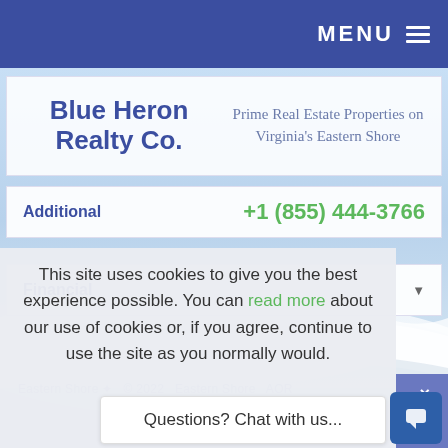MENU ≡
Blue Heron Realty Co.
Prime Real Estate Properties on Virginia's Eastern Shore
Additional +1 (855) 444-3766
Financial ▼
[Figure (photo): Ocean/beach wave background photo, light blue and white waves]
Eastern Shore ✦ © 2022 Eastern Shore AOR
This site uses cookies to give you the best experience possible. You can read more about our use of cookies or, if you agree, continue to use the site as you normally would.
Questions? Chat with us...